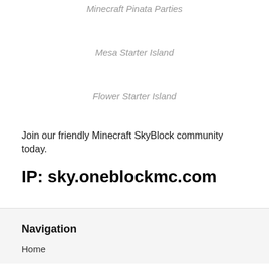Minecraft Pinata Parties
Mesa Starter Island
Flower Starter Island
Join our friendly Minecraft SkyBlock community today.
IP: sky.oneblockmc.com
Navigation
Home